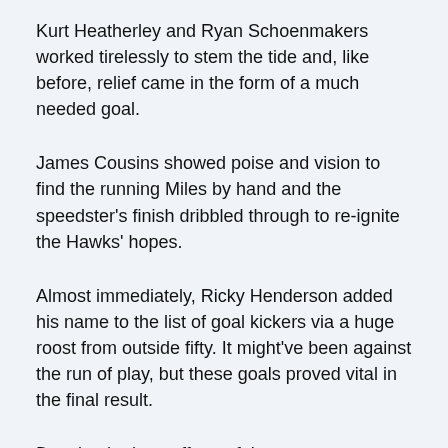Kurt Heatherley and Ryan Schoenmakers worked tirelessly to stem the tide and, like before, relief came in the form of a much needed goal.
James Cousins showed poise and vision to find the running Miles by hand and the speedster's finish dribbled through to re-ignite the Hawks' hopes.
Almost immediately, Ricky Henderson added his name to the list of goal kickers via a huge roost from outside fifty. It might've been against the run of play, but these goals proved vital in the final result.
Despite the best efforts of the courageous Mirra, Williamstown steadied with a goal of their own. Importantly, the Hawks had hung tough and went to the main break within touching distance.